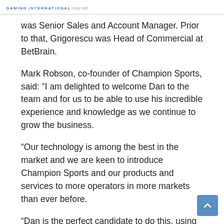GAMING INTERNATIONAL ONLINE
was Senior Sales and Account Manager. Prior to that, Grigorescu was Head of Commercial at BetBrain.
Mark Robson, co-founder of Champion Sports, said: “I am delighted to welcome Dan to the team and for us to be able to use his incredible experience and knowledge as we continue to grow the business.
“Our technology is among the best in the market and we are keen to introduce Champion Sports and our products and services to more operators in more markets than ever before.
“Dan is the perfect candidate to do this, using his years of industry experience and knowledge and natural talent for sales and account management.”
Dan Grigorescu, Business Development and Account Manager at Champion Sports, said: “What an honour it is to…